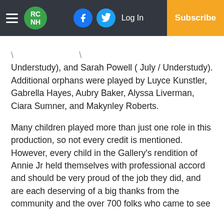RCNH | Log In | Subscribe
Understudy), and Sarah Powell ( July / Understudy). Additional orphans were played by Luyce Kunstler, Gabrella Hayes, Aubry Baker, Alyssa Liverman, Ciara Sumner, and Makynley Roberts.
Many children played more than just one role in this production, so not every credit is mentioned. However, every child in the Gallery's rendition of Annie Jr held themselves with professional accord and should be very proud of the job they did, and are each deserving of a big thanks from the community and the over 700 folks who came to see